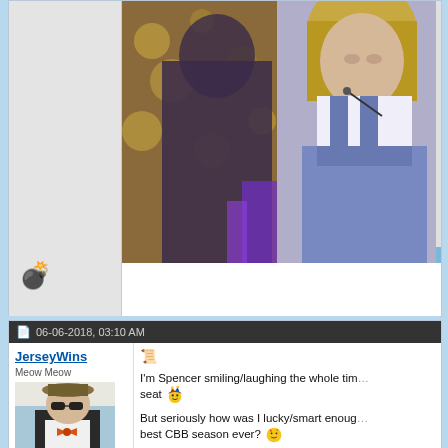[Figure (screenshot): TV screenshot showing two people seated, one in denim overalls with blonde hair, colorful background with leopard print and purple decorations]
💣
06-06-2018, 03:10 AM
JerseyWins
Meow Meow
[Figure (photo): Avatar photo of person in hat, sunglasses, and orange bow tie]
I'm Spencer smiling/laughing the whole tim... seat 🃏😊
But seriously how was I lucky/smart enoug... best CBB season ever? 🌟
[Figure (screenshot): Partially visible small screenshot at bottom]